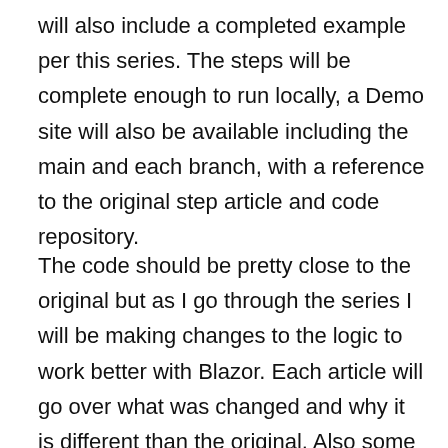will also include a completed example per this series. The steps will be complete enough to run locally, a Demo site will also be available including the main and each branch, with a reference to the original step article and code repository.
The code should be pretty close to the original but as I go through the series I will be making changes to the logic to work better with Blazor. Each article will go over what was changed and why it is different than the original. Also some of articles might be quick and others longer, this